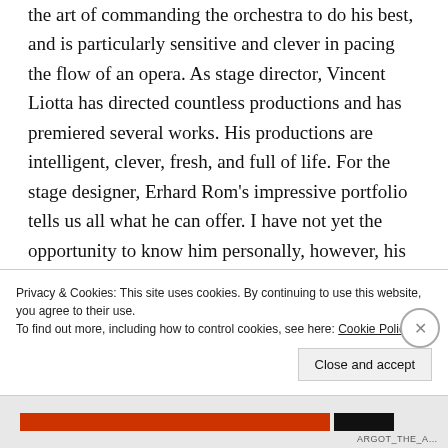the art of commanding the orchestra to do his best, and is particularly sensitive and clever in pacing the flow of an opera. As stage director, Vincent Liotta has directed countless productions and has premiered several works. His productions are intelligent, clever, fresh, and full of life. For the stage designer, Erhard Rom's impressive portfolio tells us all what he can offer. I have not yet the opportunity to know him personally, however, his professionalism is transparent and proven to be successful. Linda Pisano has designed costumes for many important and challenging productions. Her designs result from a great deal of research and
Privacy & Cookies: This site uses cookies. By continuing to use this website, you agree to their use.
To find out more, including how to control cookies, see here: Cookie Policy
Close and accept